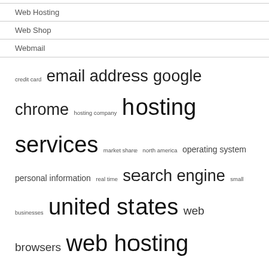Web Hosting
Web Shop
Webmail
credit card  email address  google chrome  hosting company  hosting services  market share  north america  operating system  personal information  real time  search engine  small businesses  united states  web browsers  web hosting
RECENT POSTS
What is the Best Way to Use Payday Loans Online in a Timely Manner?